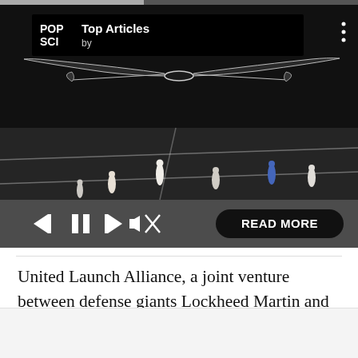[Figure (screenshot): Mobile app video player showing a nighttime sports field scene with a large solar-powered drone silhouette overhead. The player has a POP SCI Top Articles branding overlay at top left, a three-dot menu at top right, playback controls (skip back, pause, skip forward, mute) at bottom left, and a READ MORE button at bottom right.]
United Launch Alliance, a joint venture between defense giants Lockheed Martin and Boeing, has for years delivered military satellites into space using